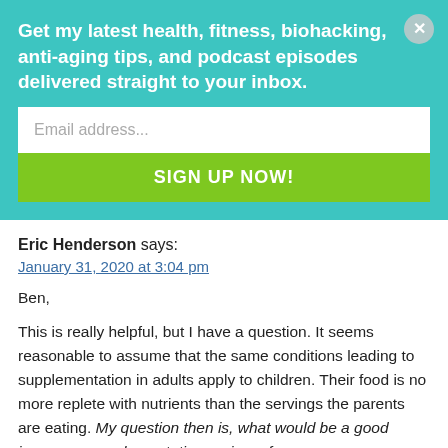Get my latest health, fitness, biohacking, anti-aging tips, and podcast episodes delivered straight to your inbox.
Email address...
SIGN UP NOW!
Eric Henderson says:
January 31, 2020 at 3:04 pm
Ben,

This is really helpful, but I have a question. It seems reasonable to assume that the same conditions leading to supplementation in adults apply to children. Their food is no more replete with nutrients than the servings the parents are eating. My question then is, what would be a good insurance supplementation regimen for